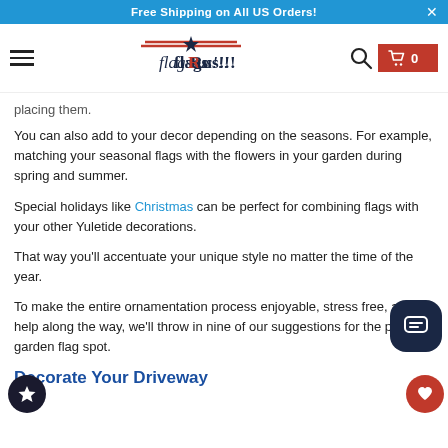Free Shipping on All US Orders!
[Figure (logo): FlagsRus!!! logo with American flag decorative elements and a star]
placing them.
You can also add to your decor depending on the seasons. For example, matching your seasonal flags with the flowers in your garden during spring and summer.
Special holidays like Christmas can be perfect for combining flags with your other Yuletide decorations.
That way you'll accentuate your unique style no matter the time of the year.
To make the entire ornamentation process enjoyable, stress free, and to help along the way, we'll throw in nine of our suggestions for the perfect garden flag spot.
Decorate Your Driveway